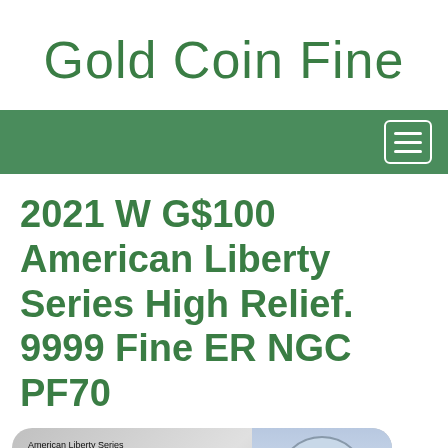Gold Coin Fine
2021 W G$100 American Liberty Series High Relief. 9999 Fine ER NGC PF70
[Figure (photo): NGC slab holder containing 2021 W G$100 American Liberty Series High Relief .9999 Fine Early Releases coin, graded PF70. The slab label reads: American Liberty Series, 2021 W G$100, High Relief - .9999 Fine, Early Releases, followed by NGC PF70 grade text. The right portion shows the coin inside the slab.]